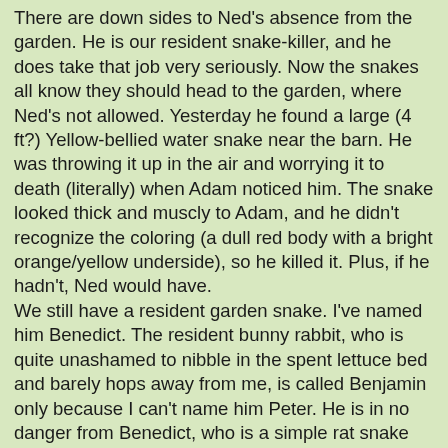There are down sides to Ned's absence from the garden. He is our resident snake-killer, and he does take that job very seriously. Now the snakes all know they should head to the garden, where Ned's not allowed. Yesterday he found a large (4 ft?) Yellow-bellied water snake near the barn. He was throwing it up in the air and worrying it to death (literally) when Adam noticed him. The snake looked thick and muscly to Adam, and he didn't recognize the coloring (a dull red body with a bright orange/yellow underside), so he killed it. Plus, if he hadn't, Ned would have.
We still have a resident garden snake. I've named him Benedict. The resident bunny rabbit, who is quite unashamed to nibble in the spent lettuce bed and barely hops away from me, is called Benjamin only because I can't name him Peter. He is in no danger from Benedict, who is a simple rat snake and whose mouth would never fit over Benjamin's ears. Last time I saw them both, Benjamin made me jump and scream when he hopped. I'm always on the look-out for Benedict (One does not want to reach for cherry tomatoes and meet a fang instead.), so he rarely surprises me.
Still, if Benedict is actually a Benedictina (??), I don't want 16